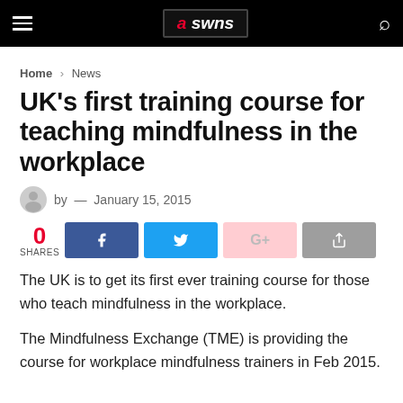SWNS
Home > News
UK's first training course for teaching mindfulness in the workplace
by — January 15, 2015
0 SHARES
The UK is to get its first ever training course for those who teach mindfulness in the workplace.
The Mindfulness Exchange (TME) is providing the course for workplace mindfulness trainers in Feb 2015.